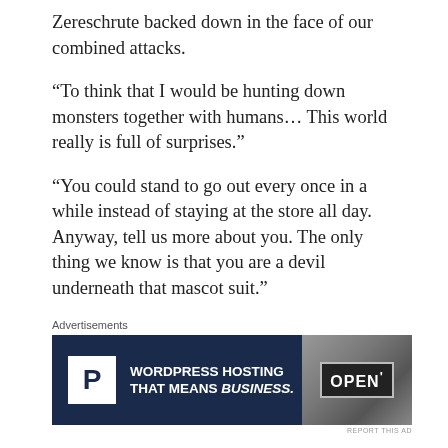Zereschrute backed down in the face of our combined attacks.
“To think that I would be hunting down monsters together with humans… This world really is full of surprises.”
“You could stand to go out every once in a while instead of staying at the store all day. Anyway, tell us more about you. The only thing we know is that you are a devil underneath that mascot suit.”
[Figure (other): Advertisement banner for WordPress Hosting with tagline 'WORDPRESS HOSTING THAT MEANS BUSINESS.' and an OPEN sign photo on the right.]
This penguin has become the mascot of this store before I realized it, but he always got purified by Aqua every time they ran into each other, so I never got the chance to interact with him very much.